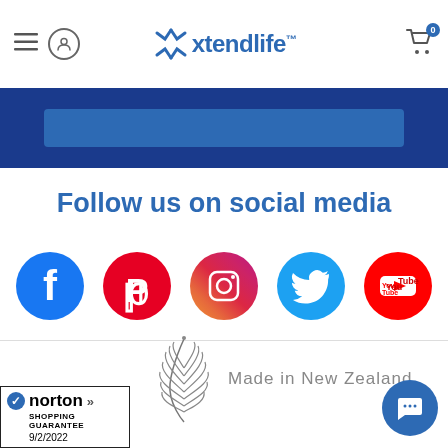Xtendlife navigation header with logo, menu, user, and cart icons
[Figure (screenshot): Blue banner with lighter blue button/bar element inside]
Follow us on social media
[Figure (infographic): Row of social media icons: Facebook (blue circle), Pinterest (red circle), Instagram (gradient circle), Twitter (cyan circle), YouTube (red circle)]
[Figure (logo): Norton Shopping Guarantee badge with checkmark, date 9/2/2022]
[Figure (illustration): New Zealand silver fern logo with 'Made in New Zealand' text beside it]
[Figure (other): Blue circular chat button in the bottom right corner]